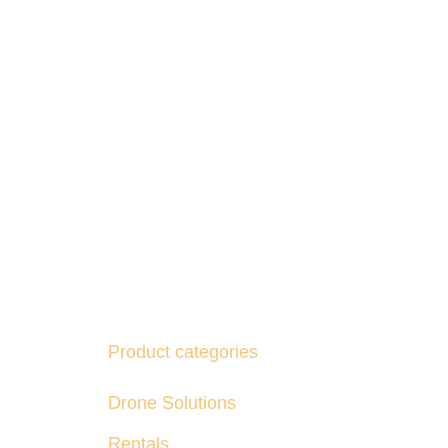Product categories
Drone Solutions
Rentals